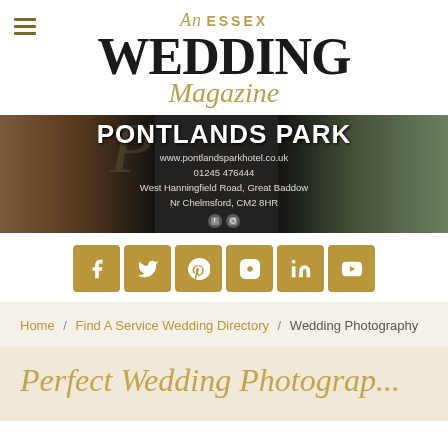[Figure (logo): An Essex Wedding Magazine logo with hamburger menu icon. Italic gold 'An' and 'ESSEX' in gold caps, large bold black 'WEDDING', italic gold 'Magazine' script below.]
[Figure (photo): Pontlands Park hotel advertisement banner. Shows a brick manor house on left, outdoor wedding chairs on right, with text: 'PONTLANDS PARK', 'www.pontlandsparkhotel.co.uk', '01245 476444', 'West Hanningfield Road, Great Baddow', 'Nr Chelmsford, CM2 8HR', plus Facebook and Instagram icons.]
[Figure (infographic): Gold social media icon bar with 6 icons: Facebook, Twitter, Pinterest, Instagram, LinkedIn, YouTube.]
Home / Find A Service Wedding Directory / Wedding Photography
Perfect Wedding Photography...